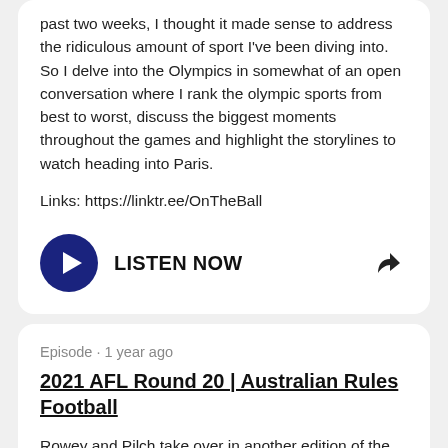past two weeks, I thought it made sense to address the ridiculous amount of sport I've been diving into. So I delve into the Olympics in somewhat of an open conversation where I rank the olympic sports from best to worst, discuss the biggest moments throughout the games and highlight the storylines to watch heading into Paris.
Links: https://linktr.ee/OnTheBall
LISTEN NOW
Episode · 1 year ago
2021 AFL Round 20 | Australian Rules Football
Rowey and Pilch take over in another edition of the weekly AFL episode. The boys run through some Round 19 analysis, a Round 20 preview, a supercoach